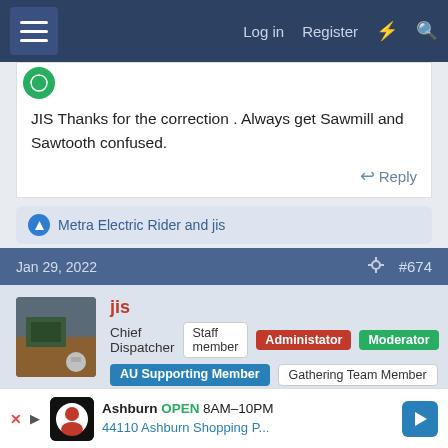Log in  Register
JIS Thanks for the correction . Always get Sawmill and Sawtooth confused.
Reply
Metra Electric Rider and jis
Jan 29, 2022  #674
jis
Chief Dispatcher  Staff member  Administator  Moderator  AU Supporting Member  Gathering Team Member
west point said: ↑
JIS Thanks for the correction . Always get Sawmill and Sawtooth confused.
It is c...
Ashburn OPEN 8AM–10PM
44110 Ashburn Shopping P...